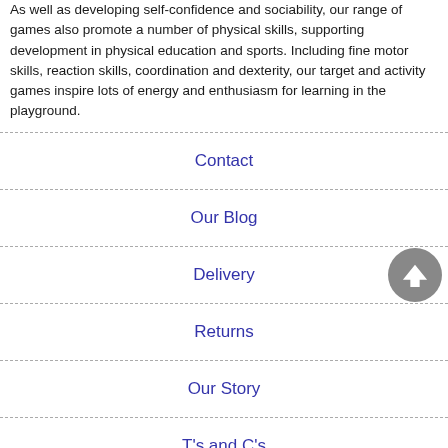As well as developing self-confidence and sociability, our range of games also promote a number of physical skills, supporting development in physical education and sports. Including fine motor skills, reaction skills, coordination and dexterity, our target and activity games inspire lots of energy and enthusiasm for learning in the playground.
Contact
Our Blog
Delivery
Returns
Our Story
T's and C's